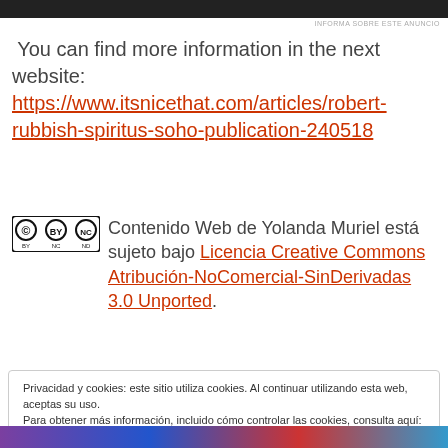[Figure (other): Dark advertisement banner at top of page]
INFORMA SOBRE ESTE ANUNCIO
You can find more information in the next website:
https://www.itsnicethat.com/articles/robert-rubbish-spiritus-soho-publication-240518
[Figure (logo): Creative Commons BY NC ND license logo]
Contenido Web de Yolanda Muriel está sujeto bajo Licencia Creative Commons Atribución-NoComercial-SinDerivadas 3.0 Unported.
Privacidad y cookies: este sitio utiliza cookies. Al continuar utilizando esta web, aceptas su uso.
Para obtener más información, incluido cómo controlar las cookies, consulta aquí: Política de cookies
Cerrar y aceptar
[Figure (illustration): Colorful illustrated image at the bottom of the page]